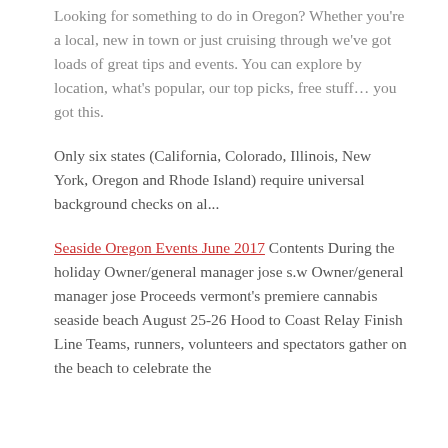Looking for something to do in Oregon? Whether you're a local, new in town or just cruising through we've got loads of great tips and events. You can explore by location, what's popular, our top picks, free stuff… you got this.
Only six states (California, Colorado, Illinois, New York, Oregon and Rhode Island) require universal background checks on al...
Seaside Oregon Events June 2017 Contents During the holiday Owner/general manager jose s.w Owner/general manager jose Proceeds vermont's premiere cannabis seaside beach August 25-26 Hood to Coast Relay Finish Line Teams, runners, volunteers and spectators gather on the beach to celebrate the